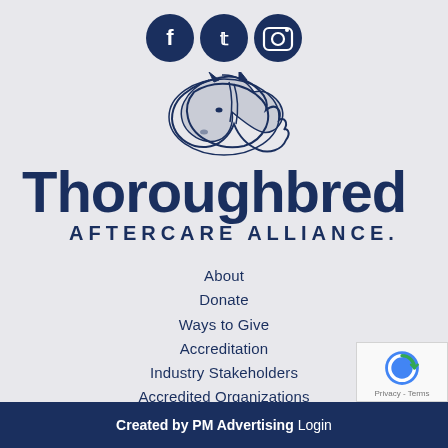[Figure (illustration): Three dark navy blue circular social media icons: Facebook (f), Twitter (bird), and Instagram (camera) displayed in a row]
[Figure (logo): Thoroughbred Aftercare Alliance logo with stylized horse head illustration in dark navy blue and the text 'Thoroughbred AFTERCARE ALLIANCE.' in dark navy blue]
About
Donate
Ways to Give
Accreditation
Industry Stakeholders
Accredited Organizations
News
Contact
Created by PM Advertising Login